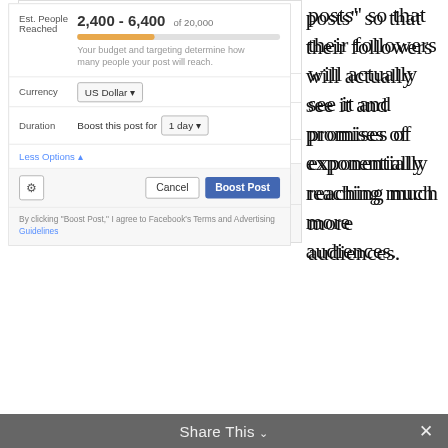[Figure (screenshot): Facebook Boost Post dialog showing Est. People Reached 2,400 - 6,400 of 20,000 with orange progress bar, Currency set to US Dollar, Duration Boost this post for 1 day, Less Options link, action bar with gear icon Cancel and Boost Post buttons, and footer disclaimer text about agreeing to Facebook's Terms and Advertising Guidelines.]
posts" so that their followers will actually see it and promises of exponentially reaching much more audiences.
Here, we have a circle of despair where Facebook encourages businesses to buy likes, then their algorithm decreases post reach, then in addition to paying for likes, you have to pay to show your posts to those who liked your page.
How deep do Facebook’s pockets go?
From a social media platform to an ad platform (with
Share This ∨  ×